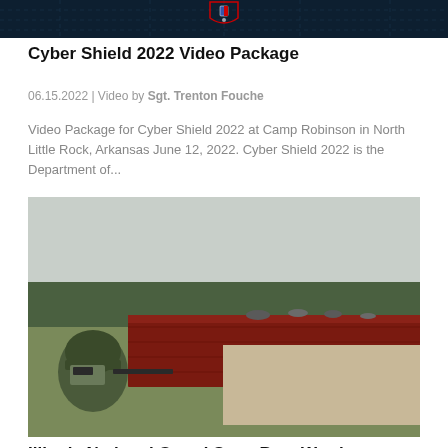[Figure (photo): Top portion of a cybersecurity-themed image showing dark background with shield iconography]
Cyber Shield 2022 Video Package
06.15.2022 | Video by Sgt. Trenton Fouche
Video Package for Cyber Shield 2022 at Camp Robinson in North Little Rock, Arkansas June 12, 2022. Cyber Shield 2022 is the Department of...
[Figure (photo): Military soldier in combat helmet aiming behind a red wooden barricade in an open field with trees in background]
Illinois National Guard State Best Warrior Competition
06.12.2022 | Video by Staff Sgt. Robert Adams